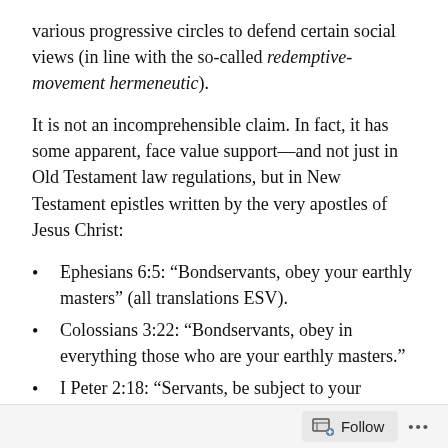various progressive circles to defend certain social views (in line with the so-called redemptive-movement hermeneutic).
It is not an incomprehensible claim. In fact, it has some apparent, face value support—and not just in Old Testament law regulations, but in New Testament epistles written by the very apostles of Jesus Christ:
Ephesians 6:5: “Bondservants, obey your earthly masters” (all translations ESV).
Colossians 3:22: “Bondservants, obey in everything those who are your earthly masters.”
I Peter 2:18: “Servants, be subject to your masters.”
Lately I’ve been thinking about how to respond to this concern. It is certainly a complicated issue that one blog
Follow ...